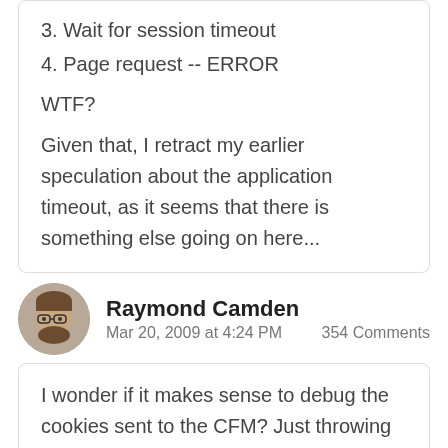3. Wait for session timeout
4. Page request -- ERROR
WTF?
Given that, I retract my earlier speculation about the application timeout, as it seems that there is something else going on here...
Raymond Camden
Mar 20, 2009 at 4:24 PM    354 Comments
I wonder if it makes sense to debug the cookies sent to the CFM? Just throwing out ideas here -- almost Miller time for me (and I